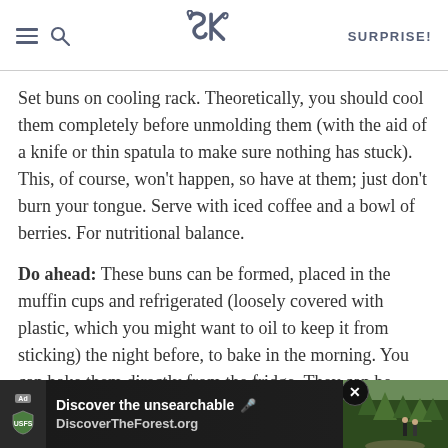SK SURPRISE!
Set buns on cooling rack. Theoretically, you should cool them completely before unmolding them (with the aid of a knife or thin spatula to make sure nothing has stuck). This, of course, won’t happen, so have at them; just don’t burn your tongue. Serve with iced coffee and a bowl of berries. For nutritional balance.
Do ahead: These buns can be formed, placed in the muffin cups and refrigerated (loosely covered with plastic, which you might want to oil to keep it from sticking) the night before, to bake in the morning. You can bake them directly from the fridge. They can be baked and frozen until needed, up to 1 month.
[Figure (screenshot): Ad banner for DiscoverTheForest.org with forest photo and close button]